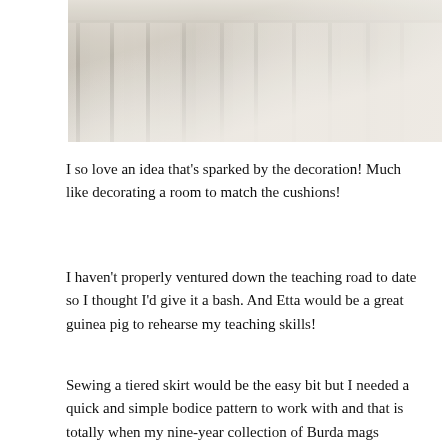[Figure (photo): Close-up photo of gathered/pleated light grey or beige fabric, showing the top waistband area of a skirt with soft pleats falling downward. Fabric texture is visible with a subtle woven pattern.]
I so love an idea that's sparked by the decoration! Much like decorating a room to match the cushions!
I haven't properly ventured down the teaching road to date so I thought I'd give it a bash. And Etta would be a great guinea pig to rehearse my teaching skills!
Sewing a tiered skirt would be the easy bit but I needed a quick and simple bodice pattern to work with and that is totally when my nine-year collection of Burda mags comes into it's own!  In order to find what I want, I just search up the pattern options online and then note the magazine issue number. I'd like to report that I file my